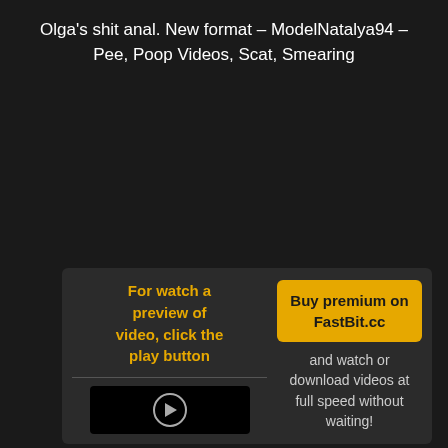Olga's shit anal. New format – ModelNatalya94 – Pee, Poop Videos, Scat, Smearing
June 17, 2021
For watch a preview of video, click the play button
Buy premium on FastBit.cc
and watch or download videos at full speed without waiting!